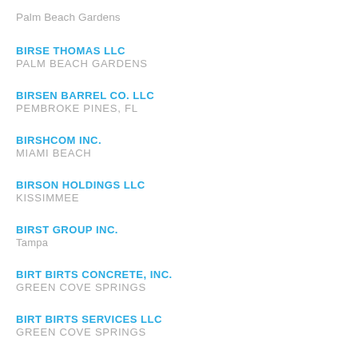Palm Beach Gardens
BIRSE THOMAS LLC
PALM BEACH GARDENS
BIRSEN BARREL CO. LLC
PEMBROKE PINES, FL
BIRSHCOM INC.
MIAMI BEACH
BIRSON HOLDINGS LLC
KISSIMMEE
BIRST GROUP INC.
Tampa
BIRT BIRTS CONCRETE, INC.
GREEN COVE SPRINGS
BIRT BIRTS SERVICES LLC
GREEN COVE SPRINGS